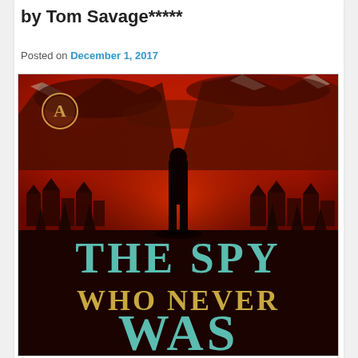by Tom Savage*****
Posted on December 1, 2017
[Figure (photo): Book cover of 'The Spy Who Never Was' showing a silhouetted figure standing in a mountain alpine village scene with a dramatic red-tinted sky. Large teal text reads 'THE SPY' and gold text reads 'WHO NEVER WAS'. Publisher logo (circle with A) in top-left corner.]